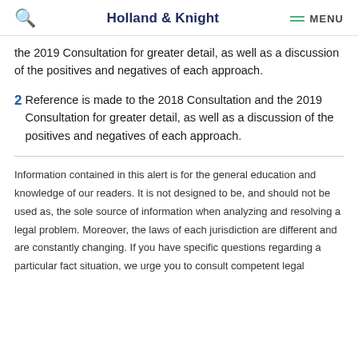Holland & Knight  MENU
the 2019 Consultation for greater detail, as well as a discussion of the positives and negatives of each approach.
2 Reference is made to the 2018 Consultation and the 2019 Consultation for greater detail, as well as a discussion of the positives and negatives of each approach.
Information contained in this alert is for the general education and knowledge of our readers. It is not designed to be, and should not be used as, the sole source of information when analyzing and resolving a legal problem. Moreover, the laws of each jurisdiction are different and are constantly changing. If you have specific questions regarding a particular fact situation, we urge you to consult competent legal